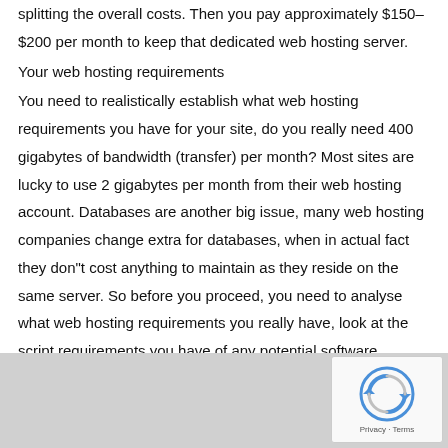splitting the overall costs. Then you pay approximately $150–$200 per month to keep that dedicated web hosting server.
Your web hosting requirements
You need to realistically establish what web hosting requirements you have for your site, do you really need 400 gigabytes of bandwidth (transfer) per month? Most sites are lucky to use 2 gigabytes per month from their web hosting account. Databases are another big issue, many web hosting companies change extra for databases, when in actual fact they don"t cost anything to maintain as they reside on the same server. So before you proceed, you need to analyse what web hosting requirements you really have, look at the script requirements you have of any potential software products you plan to use on your web hosting account.
Another limitation a lot of web hosting companies impose is the amount
[Figure (other): reCAPTCHA widget with spinning arrows icon and Privacy · Terms text, overlaid on a gray bar at the bottom of the page]